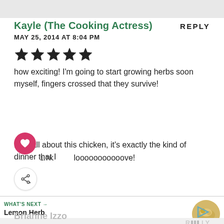Kayle (The Cooking Actress)
MAY 25, 2014 AT 8:04 PM
[Figure (other): 5-star rating (5 filled stars)]
how exciting! I'm going to start growing herbs soon myself, fingers crossed that they survive!
I am all about this chicken, it's exactly the kind of dinner that I looooooooooove!
[Figure (other): What's Next recommendation bar with Lemon Herb Grilled... and food image]
Brianne Izzo
MAY 25, 2014 AT 8:09